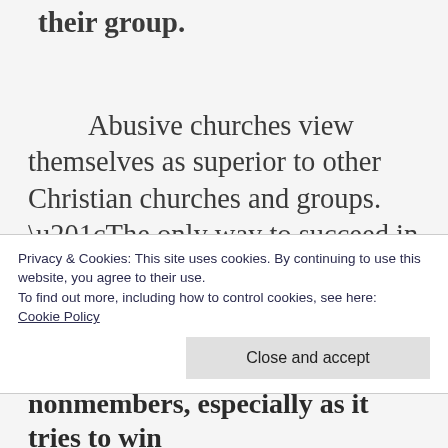their group.
Abusive churches view themselves as superior to other Christian churches and groups. “The only way to succeed in an abusive organization is to go along with the agenda, support the leadership, ignore or remove troublemakers, and scorn detractors and other
Privacy & Cookies: This site uses cookies. By continuing to use this website, you agree to their use.
To find out more, including how to control cookies, see here:
Cookie Policy
nonmembers, especially as it tries to win